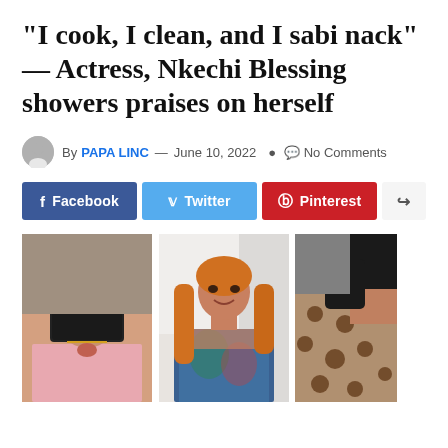“I cook, I clean, and I sabi nack” — Actress, Nkechi Blessing showers praises on herself
By PAPA LINC — June 10, 2022  No Comments
Facebook
Twitter
Pinterest
[Figure (photo): Three photos of Nkechi Blessing: left photo shows woman with blonde hair and large sunglasses making a pout; center photo shows woman with long orange hair in a colorful deep-v dress smiling; right photo shows woman in leopard print outfit.]